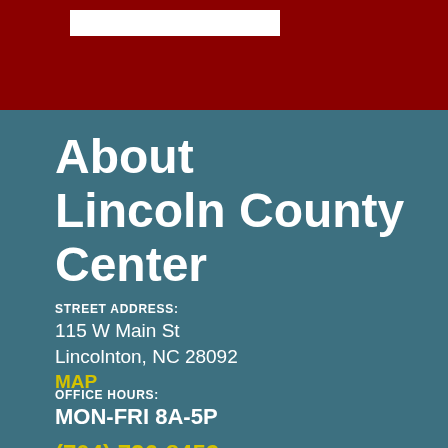About Lincoln County Center
STREET ADDRESS:
115 W Main St
Lincolnton, NC 28092
MAP
OFFICE HOURS:
MON-FRI 8A-5P
(704) 736-8452
lincoln.ces.ncsu.edu
FAX: (704) 736-8828